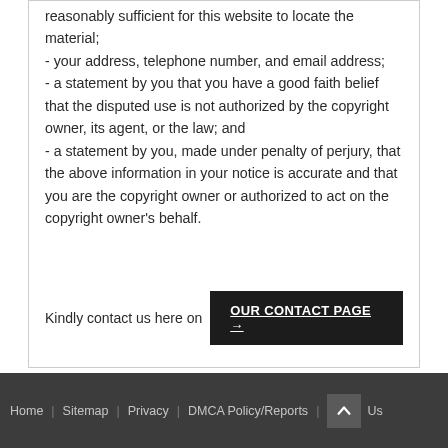reasonably sufficient for this website to locate the material; - your address, telephone number, and email address; - a statement by you that you have a good faith belief that the disputed use is not authorized by the copyright owner, its agent, or the law; and - a statement by you, made under penalty of perjury, that the above information in your notice is accurate and that you are the copyright owner or authorized to act on the copyright owner's behalf.
Kindly contact us here on OUR CONTACT PAGE →
Home | Sitemap | Privacy | DMCA Policy/Reports | Us